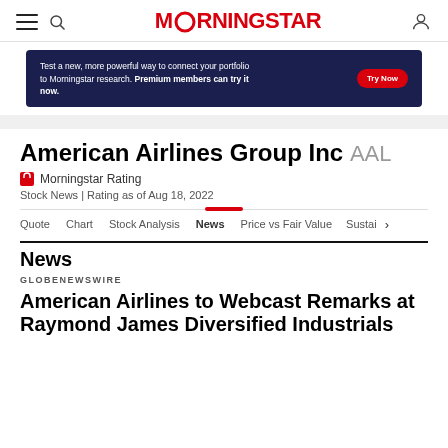Morningstar
[Figure (screenshot): Morningstar advertisement banner: 'Test a new, more powerful way to connect your portfolio to Morningstar research. Premium members can try it now.' with Try Now button]
American Airlines Group Inc AAL
🔒 Morningstar Rating
Stock News | Rating as of Aug 18, 2022
Quote  Chart  Stock Analysis  News  Price vs Fair Value  Sustai  >
News
GLOBENEWSWIRE
American Airlines to Webcast Remarks at Raymond James Diversified Industrials